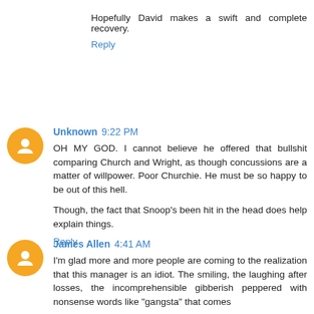Hopefully David makes a swift and complete recovery.
Reply
Unknown 9:22 PM
OH MY GOD. I cannot believe he offered that bullshit comparing Church and Wright, as though concussions are a matter of willpower. Poor Churchie. He must be so happy to be out of this hell.

Though, the fact that Snoop's been hit in the head does help explain things.
Reply
James Allen 4:41 AM
I'm glad more and more people are coming to the realization that this manager is an idiot. The smiling, the laughing after losses, the incomprehensible gibberish peppered with nonsense words like "gangsta" that comes